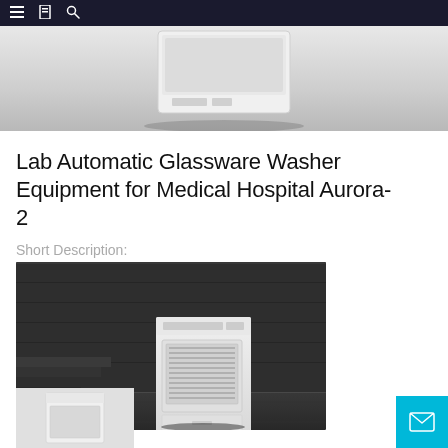Navigation bar with menu, bookmark, and search icons
[Figure (photo): Top partial view of a white lab glassware washer machine against a light grey background]
Lab Automatic Glassware Washer Equipment for Medical Hospital Aurora-2
Short Description:
[Figure (photo): Lab automatic glassware washer (Aurora-2) — a white upright cabinet-style machine with a glass-fronted loading door, displayed in a dramatic dark concrete staircase setting]
[Figure (photo): Thumbnail of the same lab glassware washer equipment, partially visible at the bottom of the page]